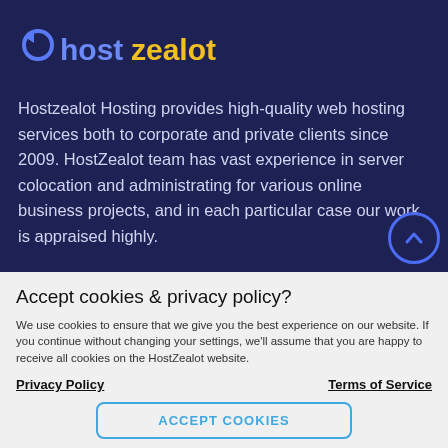[Figure (logo): HostZealot logo with blue/yellow stylized text and arrow icon on dark background]
Hostzealot Hosting provides high-quality web hosting services both to corporate and private clients since 2009. HostZealot team has vast experience in server colocation and administrating for various online business projects, and in each particular case our work is appraised highly.
Accept cookies & privacy policy?
We use cookies to ensure that we give you the best experience on our website. If you continue without changing your settings, we'll assume that you are happy to receive all cookies on the HostZealot website.
Privacy Policy	Terms of Service
ACCEPT COOKIES